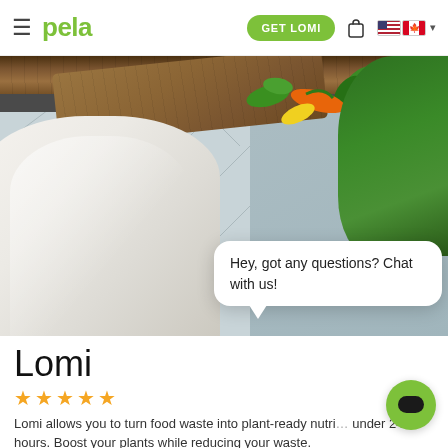pela — GET LOMI
[Figure (photo): Kitchen scene showing a Lomi food waste composter appliance on a white herringbone tile counter, with a wooden cutting board and vegetables (greens, orange, banana pepper) in the upper right, green plants in background. A white chat bubble overlays the image reading: Hey, got any questions? Chat with us!]
Lomi
★★★★★
Lomi allows you to turn food waste into plant-ready nutri… under 24 hours. Boost your plants while reducing your waste.